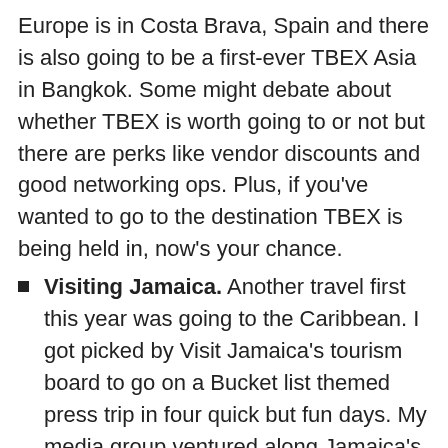Europe is in Costa Brava, Spain and there is also going to be a first-ever TBEX Asia in Bangkok. Some might debate about whether TBEX is worth going to or not but there are perks like vendor discounts and good networking ops. Plus, if you've wanted to go to the destination TBEX is being held in, now's your chance.
Visiting Jamaica. Another travel first this year was going to the Caribbean. I got picked by Visit Jamaica's tourism board to go on a Bucket list themed press trip in four quick but fun days. My media group ventured along Jamaica's north coast and spent time in Kingston, Ocho Rios and Montego Bay. I'll be writing about each part of it soon but overall our trip involved cultural, culinary and thrill-seeking activities. Like going on a bobsled ride.
LOWS